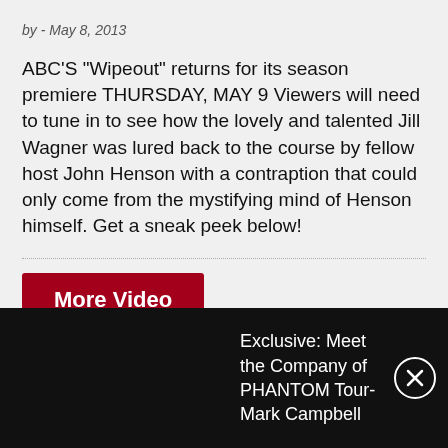by - May 8, 2013
ABC'S "Wipeout" returns for its season premiere THURSDAY, MAY 9 Viewers will need to tune in to see how the lovely and talented Jill Wagner was lured back to the course by fellow host John Henson with a contraption that could only come from the mystifying mind of Henson himself. Get a sneak peek below!
More Video
Exclusive: Meet the Company of PHANTOM Tour- Mark Campbell